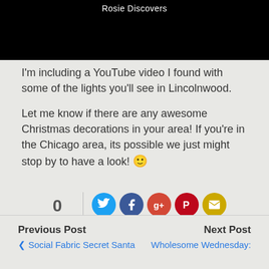[Figure (screenshot): Black video banner with white text 'Rosie Discovers' at top]
I'm including a YouTube video I found with some of the lights you'll see in Lincolnwood.
Let me know if there are any awesome Christmas decorations in your area!  If you're in the Chicago area, its possible we just might stop by to have a look! 🙂
[Figure (infographic): Social share bar showing 0 FLARES with Twitter, Facebook, Google+, Pinterest, and Email buttons each showing 0 shares]
Previous Post  Social Fabric Secret Santa  |  Next Post  Wholesome Wednesday: